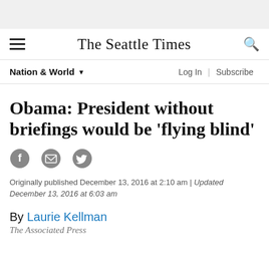The Seattle Times
Nation & World
Obama: President without briefings would be 'flying blind'
Originally published December 13, 2016 at 2:10 am | Updated December 13, 2016 at 6:03 am
By Laurie Kellman
The Associated Press